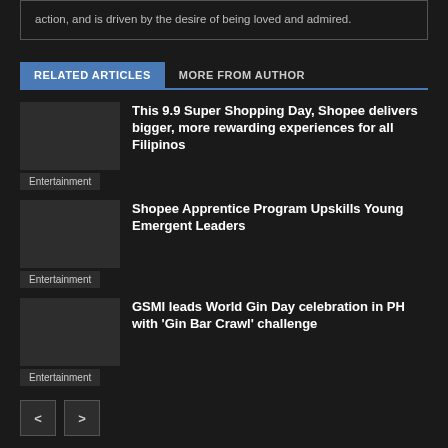action, and is driven by the desire of being loved and admired.
RELATED ARTICLES   MORE FROM AUTHOR
This 9.9 Super Shopping Day, Shopee delivers bigger, more rewarding experiences for all Filipinos
Entertainment
Shopee Apprentice Program Upskills Young Emergent Leaders
Entertainment
GSMI leads World Gin Day celebration in PH with 'Gin Bar Crawl' challenge
Entertainment